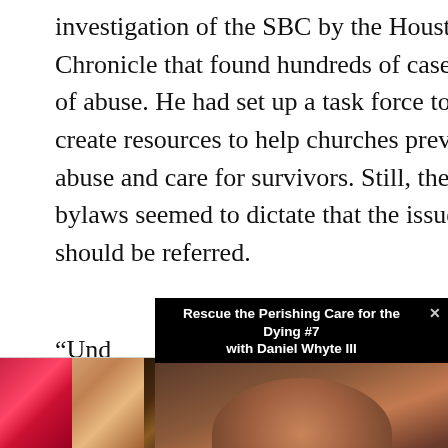investigation of the SBC by the Houston Chronicle that found hundreds of cases of abuse. He had set up a task force to create resources to help churches prevent abuse and care for survivors. Still, the bylaws seemed to dictate that the issue should be referred.
“Und[er...] moti[on...] Com[mittee...] Gree[n...]
[Figure (screenshot): Video popup overlay titled 'Rescue the Perishing Care for the Dying #7 with Daniel Whyte III' showing a man with glasses looking downward, with a close (x) button in the upper right corner.]
[Figure (photo): Advertisement banner showing cosmetics imagery: lips with red lipstick, makeup brush, eye with dramatic makeup, Ulta Beauty logo, eye with dark makeup, and a SHOP NOW call to action button.]